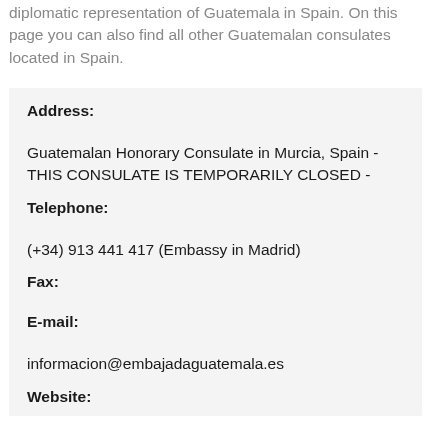diplomatic representation of Guatemala in Spain. On this page you can also find all other Guatemalan consulates located in Spain.
Address:

Guatemalan Honorary Consulate in Murcia, Spain - THIS CONSULATE IS TEMPORARILY CLOSED -

Telephone:

(+34) 913 441 417 (Embassy in Madrid)

Fax:

E-mail:

informacion@embajadaguatemala.es

Website: